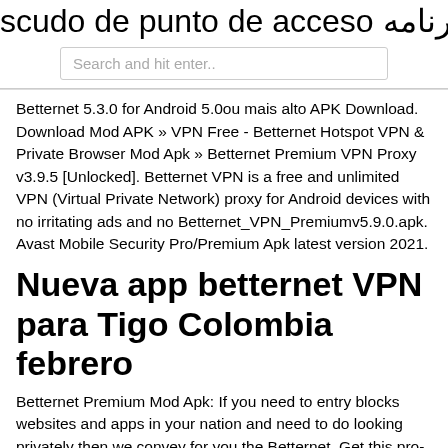لود برنامه scudo de punto de acceso
Search and hit enter..
Betternet 5.3.0 for Android 5.0ou mais alto APK Download. Download Mod APK » VPN Free - Betternet Hotspot VPN & Private Browser Mod Apk » Betternet Premium VPN Proxy v3.9.5 [Unlocked]. Betternet VPN is a free and unlimited VPN (Virtual Private Network) proxy for Android devices with no irritating ads and no Betternet_VPN_Premiumv5.9.0.apk. Avast Mobile Security Pro/Premium Apk latest version 2021.
Nueva app betternet VPN para Tigo Colombia febrero
Betternet Premium Mod Apk: If you need to entry blocks websites and apps in your nation and need to do looking privately then we convey for you the Betternet. Get this pro-Apk without cost from under the obtain part. Download Betternet Pro Vpn Mod Fully Unlocked. Betternet VPN is a free and unlimited VPN (Virtual Private Network) proxy for